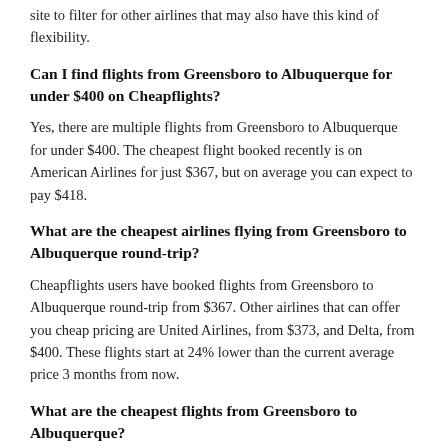site to filter for other airlines that may also have this kind of flexibility.
Can I find flights from Greensboro to Albuquerque for under $400 on Cheapflights?
Yes, there are multiple flights from Greensboro to Albuquerque for under $400. The cheapest flight booked recently is on American Airlines for just $367, but on average you can expect to pay $418.
What are the cheapest airlines flying from Greensboro to Albuquerque round-trip?
Cheapflights users have booked flights from Greensboro to Albuquerque round-trip from $367. Other airlines that can offer you cheap pricing are United Airlines, from $373, and Delta, from $400. These flights start at 24% lower than the current average price 3 months from now.
What are the cheapest flights from Greensboro to Albuquerque?
Looking for the cheapest flight from Greensboro to